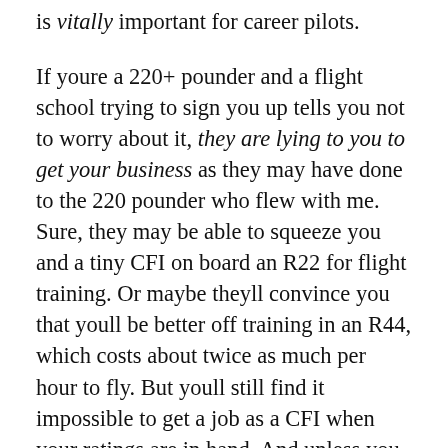is vitally important for career pilots.
If youre a 220+ pounder and a flight school trying to sign you up tells you not to worry about it, they are lying to you to get your business as they may have done to the 220 pounder who flew with me. Sure, they may be able to squeeze you and a tiny CFI on board an R22 for flight training. Or maybe theyll convince you that youll be better off training in an R44, which costs about twice as much per hour to fly. But youll still find it impossible to get a job as a CFI when your ratings are in hand. And unless you plan to pay to build your first 1,000 hours, youll need that CFI job to move forward in your career.
It could be said that training that as if you want to...